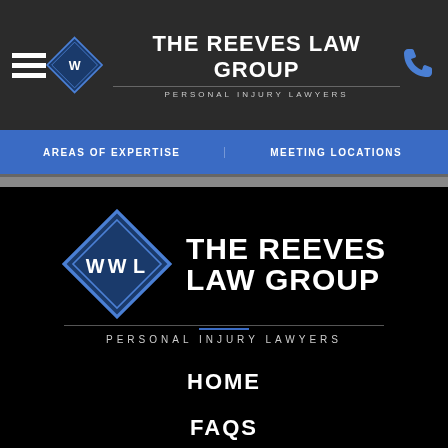THE REEVES LAW GROUP — PERSONAL INJURY LAWYERS
AREAS OF EXPERTISE
MEETING LOCATIONS
[Figure (logo): The Reeves Law Group diamond logo with text THE REEVES LAW GROUP PERSONAL INJURY LAWYERS on black background]
HOME
FAQS
CAREERS